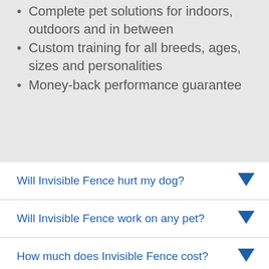Complete pet solutions for indoors, outdoors and in between
Custom training for all breeds, ages, sizes and personalities
Money-back performance guarantee
Will Invisible Fence hurt my dog?
Will Invisible Fence work on any pet?
How much does Invisible Fence cost?
How does Invisible Fence's underground dog